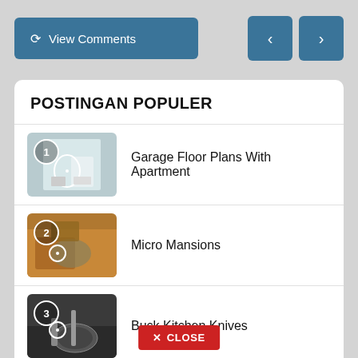[Figure (screenshot): View Comments button with refresh icon on left, navigation prev/next buttons on right]
POSTINGAN POPULER
Garage Floor Plans With Apartment
Micro Mansions
Buck Kitchen Knives
Home Interior Architecture